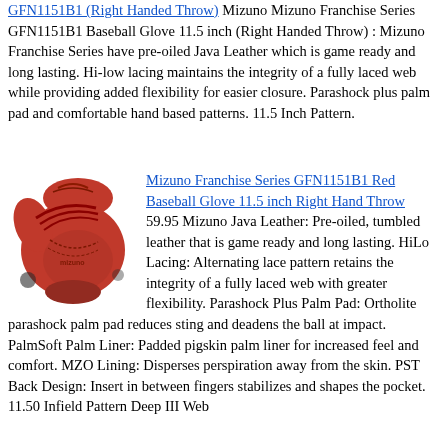[link: GFN1151B1 Right Handed Throw] Mizuno Mizuno Franchise Series GFN1151B1 Baseball Glove 11.5 inch (Right Handed Throw) : Mizuno Franchise Series have pre-oiled Java Leather which is game ready and long lasting. Hi-low lacing maintains the integrity of a fully laced web while providing added flexibility for easier closure. Parashock plus palm pad and comfortable hand based patterns. 11.5 Inch Pattern.
[Figure (photo): Red Mizuno Franchise Series GFN1151B1 baseball glove]
Mizuno Franchise Series GFN1151B1 Red Baseball Glove 11.5 inch Right Hand Throw 59.95 Mizuno Java Leather: Pre-oiled, tumbled leather that is game ready and long lasting. HiLo Lacing: Alternating lace pattern retains the integrity of a fully laced web with greater flexibility. Parashock Plus Palm Pad: Ortholite parashock palm pad reduces sting and deadens the ball at impact. PalmSoft Palm Liner: Padded pigskin palm liner for increased feel and comfort. MZO Lining: Disperses perspiration away from the skin. PST Back Design: Insert in between fingers stabilizes and shapes the pocket. 11.50 Infield Pattern Deep III Web